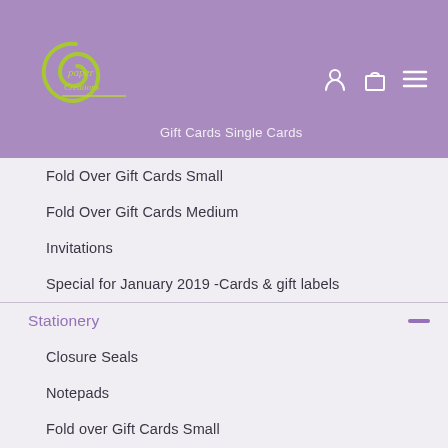[Figure (logo): Paper Creations logo with decorative swirl in green and purple on purple background]
Gift Cards Single Cards
Fold Over Gift Cards Small
Fold Over Gift Cards Medium
Invitations
Special for January 2019 -Cards & gift labels
Stationery
Closure Seals
Notepads
Fold over Gift Cards Small
Fold over gift cards medium
School
Sports Bag Tags
Laundry Marker Stamps